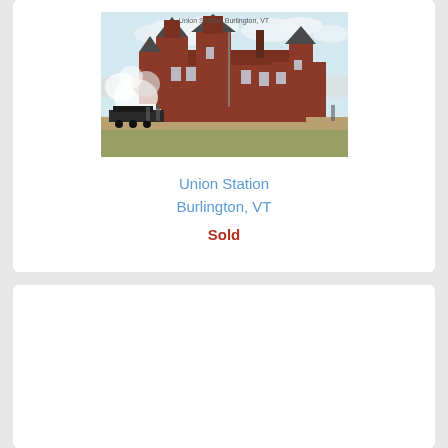[Figure (photo): Vintage colorized postcard photograph of Union Station Burlington VT, a large red brick building with multiple turrets and towers in a Victorian/Romanesque style, with a steam locomotive and smoke visible in front, set against a light sky with clouds.]
Union Station Burlington, VT
Sold